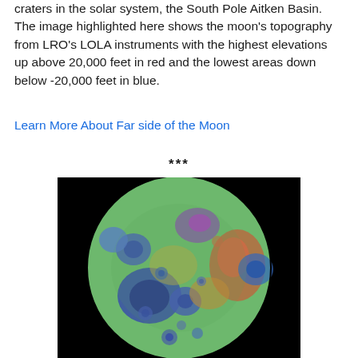craters in the solar system, the South Pole Aitken Basin. The image highlighted here shows the moon's topography from LRO's LOLA instruments with the highest elevations up above 20,000 feet in red and the lowest areas down below -20,000 feet in blue.
Learn More About Far side of the Moon
***
[Figure (photo): Topographic map of the far side of the Moon shown as a colorized sphere against black background. Colors range from blue (lowest elevations, below -20,000 feet) through green and yellow to red and purple (highest elevations, above 20,000 feet). Large impact craters visible as blue/purple depressions. The South Pole Aitken Basin is visible. Data from LRO LOLA instruments.]